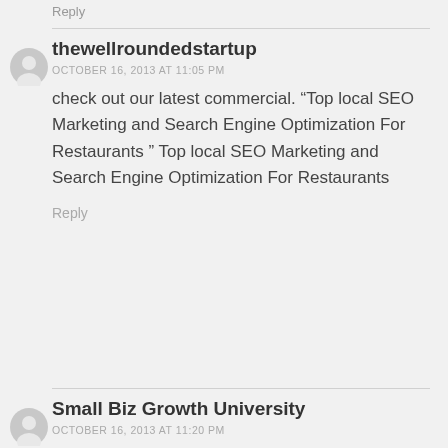Reply
thewellroundedstartup
OCTOBER 16, 2013 AT 11:05 PM
check out our latest commercial. “Top local SEO Marketing and Search Engine Optimization For Restaurants ” Top local SEO Marketing and Search Engine Optimization For Restaurants
Reply
Small Biz Growth University
OCTOBER 16, 2013 AT 11:20 PM